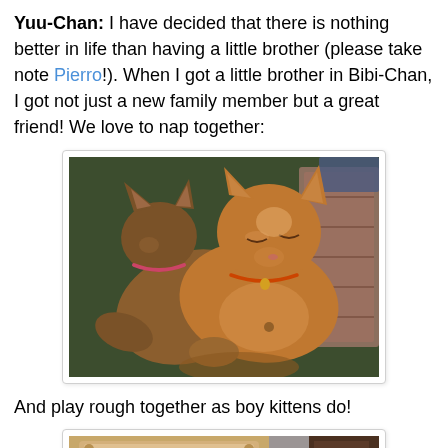Yuu-Chan: I have decided that there is nothing better in life than having a little brother (please take note Pierro!). When I got a little brother in Bibi-Chan, I got not just a new family member but a great friend! We love to nap together:
[Figure (photo): Two orange/brown Abyssinian cats sleeping curled up together on a green blanket with a colorful patterned pillow nearby. Both cats are wearing collars.]
And play rough together as boy kittens do!
[Figure (photo): Partial view of two cats playing on a surface with a decorative pillow visible, photo cut off at bottom of page.]